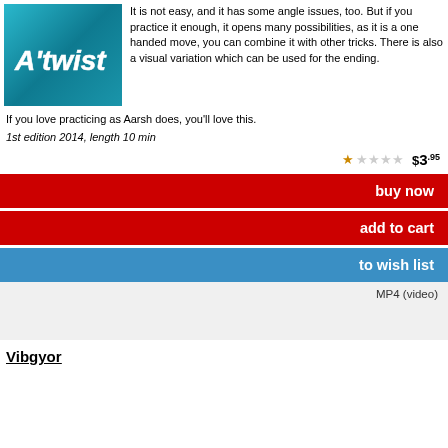[Figure (photo): Product thumbnail for A'twist magic trick — teal/blue gradient background with 'A'twist' text in white bold italic font]
It is not easy, and it has some angle issues, too. But if you practice it enough, it opens many possibilities, as it is a one handed move, you can combine it with other tricks. There is also a visual variation which can be used for the ending.
If you love practicing as Aarsh does, you'll love this.
1st edition 2014, length 10 min
★☆☆☆☆  $3.95
buy now
add to cart
to wish list
MP4 (video)
Vibgyor